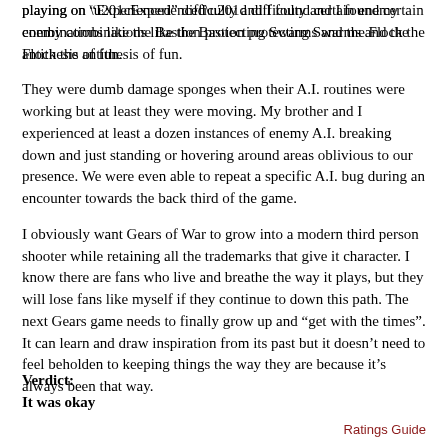playing on “Experienced” difficulty and I found certain enemy combinations like the Bastion protecting Swarms and the Flock the antithesis of fun.
They were dumb damage sponges when their A.I. routines were working but at least they were moving. My brother and I experienced at least a dozen instances of enemy A.I. breaking down and just standing or hovering around areas oblivious to our presence. We were even able to repeat a specific A.I. bug during an encounter towards the back third of the game.
I obviously want Gears of War to grow into a modern third person shooter while retaining all the trademarks that give it character. I know there are fans who live and breathe the way it plays, but they will lose fans like myself if they continue to down this path. The next Gears game needs to finally grow up and “get with the times”. It can learn and draw inspiration from its past but it doesn’t need to feel beholden to keeping things the way they are because it’s always been that way.
Verdict:
It was okay
Ratings Guide